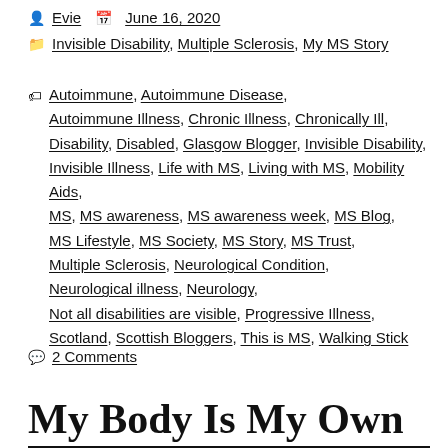Evie   June 16, 2020
Invisible Disability, Multiple Sclerosis, My MS Story
Autoimmune, Autoimmune Disease, Autoimmune Illness, Chronic Illness, Chronically Ill, Disability, Disabled, Glasgow Blogger, Invisible Disability, Invisible Illness, Life with MS, Living with MS, Mobility Aids, MS, MS awareness, MS awareness week, MS Blog, MS Lifestyle, MS Society, MS Story, MS Trust, Multiple Sclerosis, Neurological Condition, Neurological illness, Neurology, Not all disabilities are visible, Progressive Illness, Scotland, Scottish Bloggers, This is MS, Walking Stick
2 Comments
My Body Is My Own